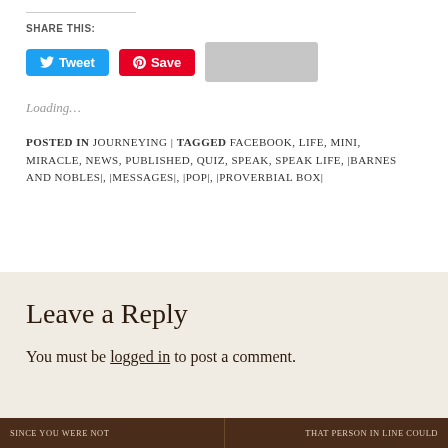SHARE THIS:
[Figure (screenshot): Social share buttons: Tweet (Twitter, blue), Save (Pinterest, red), and a faded LinkedIn button]
Loading...
POSTED IN JOURNEYING | TAGGED FACEBOOK, LIFE, MINI, MIRACLE, NEWS, PUBLISHED, QUIZ, SPEAK, SPEAK LIFE, |BARNES AND NOBLES|, |MESSAGES|, |POP|, |PROVERBIAL BOX|
Leave a Reply
You must be logged in to post a comment.
SINCE YOU WERE NOT     THAT PERSON IN LINE COULD